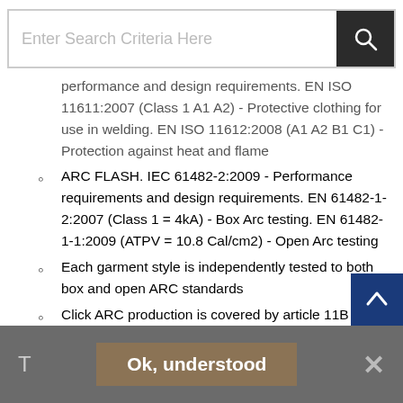Enter Search Criteria Here
performance and design requirements. EN ISO 11611:2007 (Class 1 A1 A2) - Protective clothing for use in welding. EN ISO 11612:2008 (A1 A2 B1 C1) - Protection against heat and flame
ARC FLASH. IEC 61482-2:2009 - Performance requirements and design requirements. EN 61482-1-2:2007 (Class 1 = 4kA) - Box Arc testing. EN 61482-1-1:2009 (ATPV = 10.8 Cal/cm2) - Open Arc testing
Each garment style is independently tested to both box and open ARC standards
Click ARC production is covered by article 11B certification
Does NOT conform to EN ISO 20471
Anti-static
ARC Flash coverall
300gsm 60/40 Modacrylic/cotton blend
Ok, understood